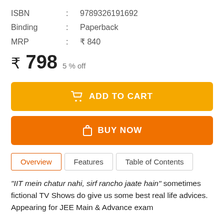| Field | : | Value |
| --- | --- | --- |
| ISBN | : | 9789326191692 |
| Binding | : | Paperback |
| MRP | : | ₹ 840 |
₹ 798  5 % off
ADD TO CART
BUY NOW
Overview | Features | Table of Contents
"IIT mein chatur nahi, sirf rancho jaate hain" sometimes fictional TV Shows do give us some best real life advices. Appearing for JEE Main & Advance exam